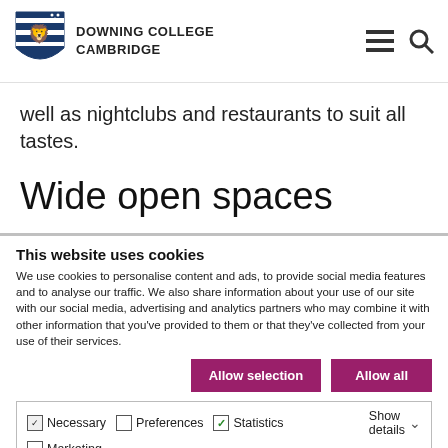Downing College Cambridge
well as nightclubs and restaurants to suit all tastes.
Wide open spaces
This website uses cookies
We use cookies to personalise content and ads, to provide social media features and to analyse our traffic. We also share information about your use of our site with our social media, advertising and analytics partners who may combine it with other information that you've provided to them or that they've collected from your use of their services.
Allow selection | Allow all
Necessary | Preferences | Statistics | Marketing | Show details